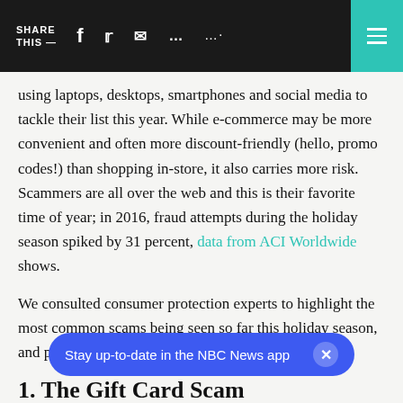SHARE THIS — [social icons: Facebook, Twitter, Email, Message, More] [hamburger menu]
using laptops, desktops, smartphones and social media to tackle their list this year. While e-commerce may be more convenient and often more discount-friendly (hello, promo codes!) than shopping in-store, it also carries more risk. Scammers are all over the web and this is their favorite time of year; in 2016, fraud attempts during the holiday season spiked by 31 percent, data from ACI Worldwide shows.
We consulted consumer protection experts to highlight the most common scams being seen so far this holiday season, and provided tips on how to avoid them:
1. The Gift Card Scam
A new survey by WalletHub found that for the eleventh
Stay up-to-date in the NBC News app